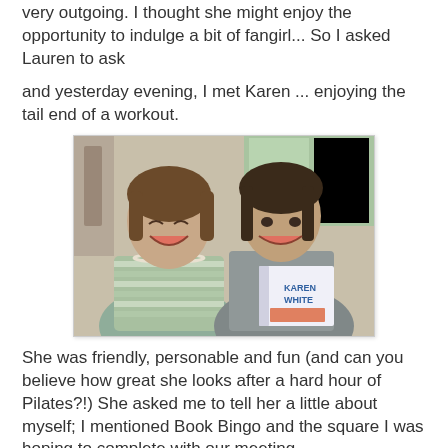very outgoing. I thought she might enjoy the opportunity to indulge a bit of fangirl... So I asked Lauren to ask
and yesterday evening, I met Karen ... enjoying the tail end of a workout.
[Figure (photo): Two women smiling together in a gym/studio setting. The woman on the left wears a striped shirt and pearl necklace. The woman on the right holds a book with 'Karen White' visible on the cover, and wears a gray tank top.]
She was friendly, personable and fun (and can you believe how great she looks after a hard hour of Pilates?!) She asked me to tell her a little about myself; I mentioned Book Bingo and the square I was hoping to complete with our meeting.
[Figure (photo): Bottom portion of another photo, partially visible at the bottom of the page.]